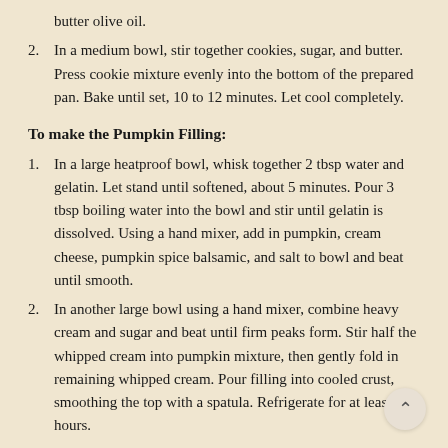butter olive oil.
In a medium bowl, stir together cookies, sugar, and butter. Press cookie mixture evenly into the bottom of the prepared pan. Bake until set, 10 to 12 minutes. Let cool completely.
To make the Pumpkin Filling:
In a large heatproof bowl, whisk together 2 tbsp water and gelatin. Let stand until softened, about 5 minutes. Pour 3 tbsp boiling water into the bowl and stir until gelatin is dissolved. Using a hand mixer, add in pumpkin, cream cheese, pumpkin spice balsamic, and salt to bowl and beat until smooth.
In another large bowl using a hand mixer, combine heavy cream and sugar and beat until firm peaks form. Stir half the whipped cream into pumpkin mixture, then gently fold in remaining whipped cream. Pour filling into cooled crust, smoothing the top with a spatula. Refrigerate for at least 2 hours.
To make the cream cheese filling: